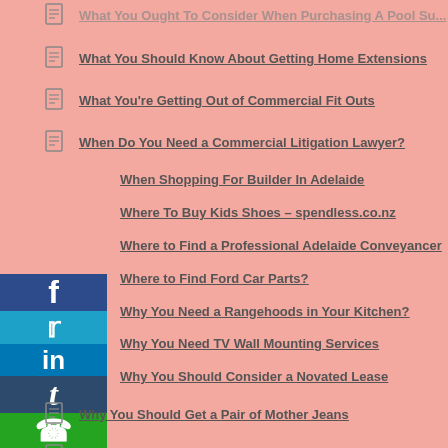What You Should Know About Getting Home Extensions
What You’re Getting Out of Commercial Fit Outs
When Do You Need a Commercial Litigation Lawyer?
When Shopping For Builder In Adelaide
Where To Buy Kids Shoes – spendless.co.nz
Where to Find a Professional Adelaide Conveyancer
Where to Find Ford Car Parts?
Why You Need a Rangehoods in Your Kitchen?
Why You Need TV Wall Mounting Services
Why You Should Consider a Novated Lease
Why You Should Get a Pair of Mother Jeans
Why You Should Hire a Web Development Company
Why You Should Use Unipak Net Wrap For Storing Hay